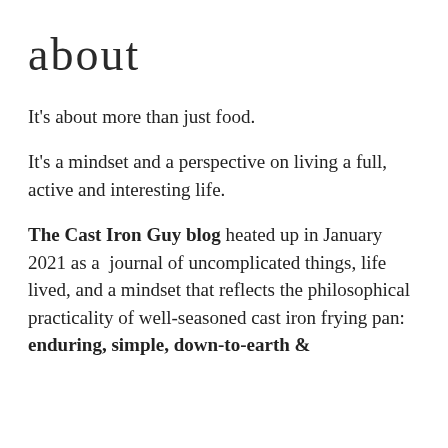about
It's about more than just food.
It's a mindset and a perspective on living a full, active and interesting life.
The Cast Iron Guy blog heated up in January 2021 as a journal of uncomplicated things, life lived, and a mindset that reflects the philosophical practicality of well-seasoned cast iron frying pan: enduring, simple, down-to-earth &